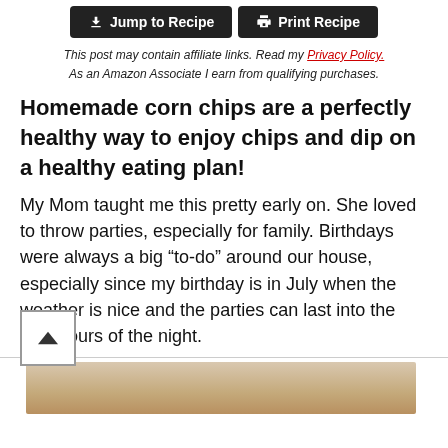Jump to Recipe | Print Recipe
This post may contain affiliate links. Read my Privacy Policy. As an Amazon Associate I earn from qualifying purchases.
Homemade corn chips are a perfectly healthy way to enjoy chips and dip on a healthy eating plan!
My Mom taught me this pretty early on. She loved to throw parties, especially for family. Birthdays were always a big “to-do” around our house, especially since my birthday is in July when the weather is nice and the parties can last into the wee hours of the night.
[Figure (photo): Bottom strip of a photograph partially visible at the bottom of the page, showing warm beige/tan tones.]